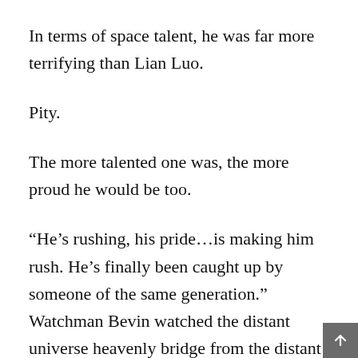In terms of space talent, he was far more terrifying than Lian Luo.
Pity.
The more talented one was, the more proud he would be too.
“He’s rushing, his pride…is making him rush. He’s finally been caught up by someone of the same generation.” Watchman Bevin watched the distant universe heavenly bridge from the distant space. Speaking softly, “He’s probably never ever tasted such a feeling before in his life. At the last period in primal chaos city when Luo Feng passed the 5th level, he rushed to attempt the 6th. Luckily he succeeded. He managed to keep his pride.”